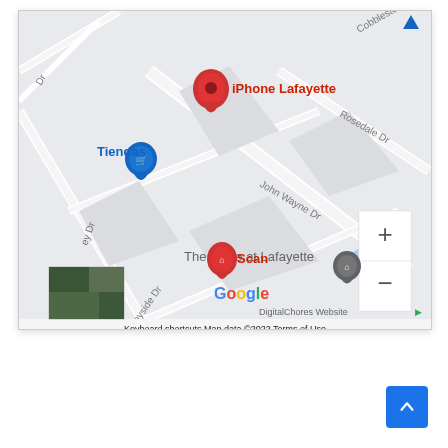[Figure (map): Google Maps screenshot showing iPhone Lafayette location marker (red pin) with label 'iPhone Lafayette', Tiendas location (blue pin), The Blake at Lafayette location (gray pin), Scan location (red pin), street labels including John Wayne Dr, Rosedale Dr, Bayside Dr, Cobblestone street, a satellite thumbnail in bottom-left corner, Google logo, zoom controls (+/-), and footer text 'Keyboard shortcuts  Map data ©2022  Terms of Use']
[Figure (other): Blue back-to-top button with upward chevron arrow in bottom-right corner of page]